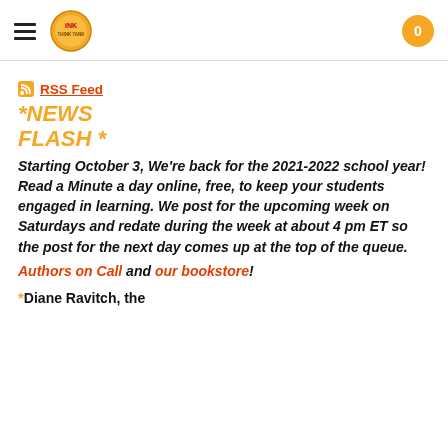INK Think Tank logo with hamburger menu and cart button showing 0
RSS Feed
*NEWS FLASH *
Starting October 3, We're back for the 2021-2022 school year!  Read a Minute a day online, free, to keep your students engaged in learning. We post for the upcoming week on Saturdays and redate during the week at about 4 pm ET so the post for the next day comes up at the top of the queue.
Authors on Call and our bookstore!
*Diane Ravitch, the